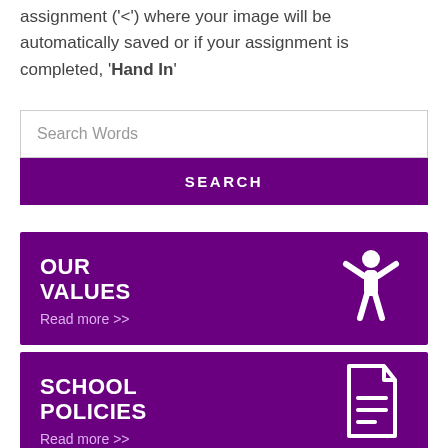assignment ('<') where your image will be automatically saved or if your assignment is completed, 'Hand In'
[Figure (screenshot): Search bar with 'Search Words' placeholder and a purple SEARCH button below]
[Figure (infographic): Purple banner card with 'OUR VALUES' heading, 'Read more >>' link, and a white person icon with arms raised]
[Figure (infographic): Purple banner card with 'SCHOOL POLICIES' heading, 'Read more >>' link, and a white document icon]